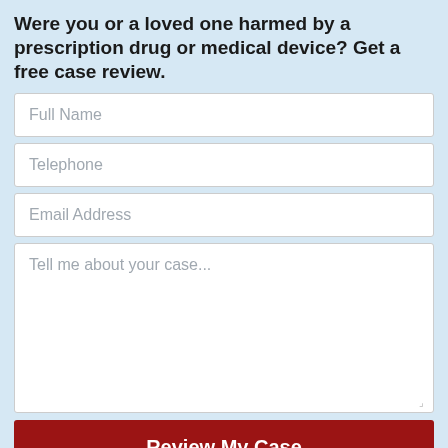Were you or a loved one harmed by a prescription drug or medical device? Get a free case review.
Full Name
Telephone
Email Address
Tell me about your case...
Review My Case
Bernstein Liebhard LLP
10 East 40th Street